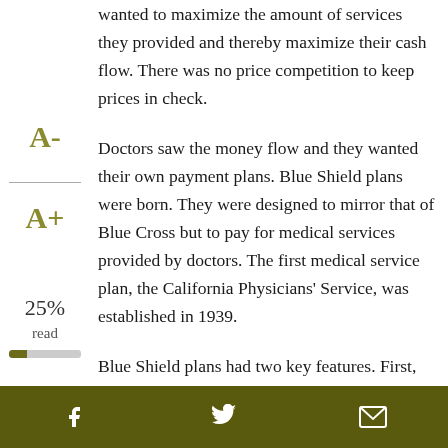wanted to maximize the amount of services they provided and thereby maximize their cash flow. There was no price competition to keep prices in check.
Doctors saw the money flow and they wanted their own payment plans. Blue Shield plans were born. They were designed to mirror that of Blue Cross but to pay for medical services provided by doctors. The first medical service plan, the California Physicians' Service, was established in 1939.
Blue Shield plans had two key features. First, they required free choice of physician. Second, they were indemnity rather than service benefit plans.
This meant that the plans paid the patient a dollar amount for each covered event; the patient, in turn, was
f  [twitter]  [email]